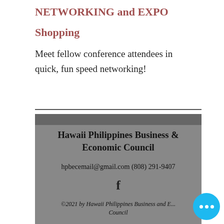NETWORKING and EXPO
Shopping
Meet fellow conference attendees in quick, fun speed networking!
Hawaii Philippines Business & Economic Council
hpbecemail@gmail.com (808) 291-9407
©2021 by Hawaii Philippines Business and Economic Council